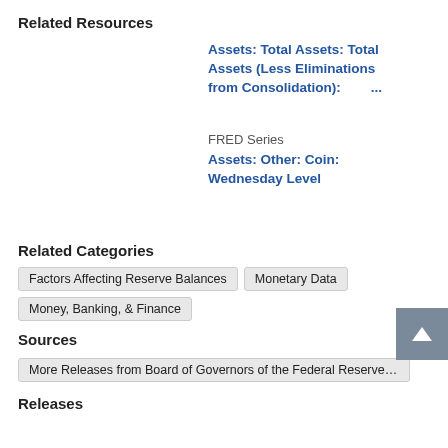Related Resources
Assets: Total Assets: Total Assets (Less Eliminations from Consolidation): ...
FRED Series
Assets: Other: Coin: Wednesday Level
Related Categories
Factors Affecting Reserve Balances
Monetary Data
Money, Banking, & Finance
Sources
More Releases from Board of Governors of the Federal Reserve System (US)
Releases